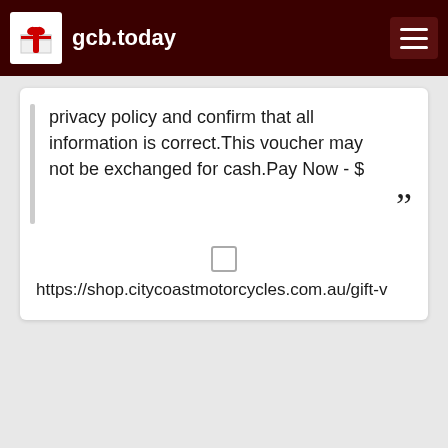gcb.today
privacy policy and confirm that all information is correct.This voucher may not be exchanged for cash.Pay Now - $
https://shop.citycoastmotorcycles.com.au/gift-v